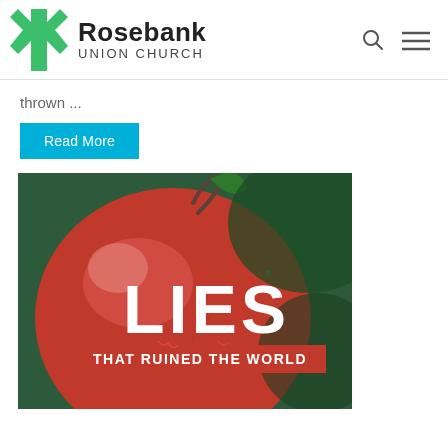Rosebank Union Church
thrown ...
Read More
[Figure (photo): Close-up photo of a red apple against a green background with overlaid text reading 'LIES THAT RUINED THE WORLD']